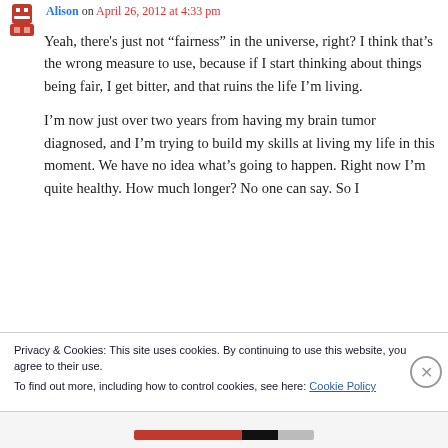Alison on April 26, 2012 at 4:33 pm
Yeah, there's just not “fairness” in the universe, right? I think that’s the wrong measure to use, because if I start thinking about things being fair, I get bitter, and that ruins the life I’m living.
I’m now just over two years from having my brain tumor diagnosed, and I’m trying to build my skills at living my life in this moment. We have no idea what’s going to happen. Right now I’m quite healthy. How much longer? No one can say. So I
Privacy & Cookies: This site uses cookies. By continuing to use this website, you agree to their use.
To find out more, including how to control cookies, see here: Cookie Policy
Close and accept